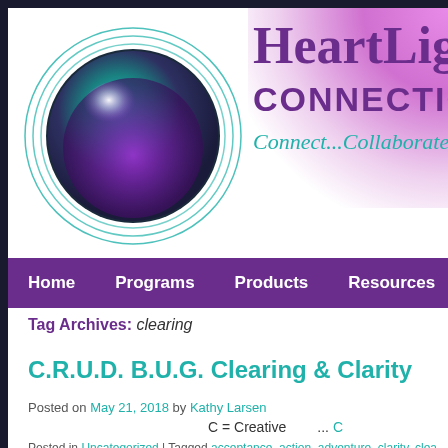[Figure (logo): HeartLight Connections website header with teal/purple orb logo and text 'HeartLight CONNECTIONS Connect...Collaborate...Cre...' with purple/pink gradient background]
Home | Programs | Products | Resources | Contact
Tag Archives: clearing
C.R.U.D. B.U.G. Clearing & Clarity
Posted on May 21, 2018 by Kathy Larsen
C = Creative ... C
Posted in Uncategorized | Tagged acceptance, action, adventure, clarity, clear...